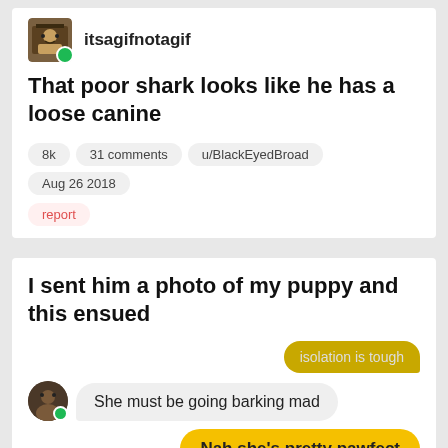[Figure (screenshot): Social media post by user itsagifnotagif with avatar, username, post title, metadata tags (8k, 31 comments, u/BlackEyedBroad, Aug 26 2018), and report link]
That poor shark looks like he has a loose canine
8k   31 comments   u/BlackEyedBroad   Aug 26 2018
report
I sent him a photo of my puppy and this ensued
isolation is tough
She must be going barking mad
Nah she's pretty pawfect